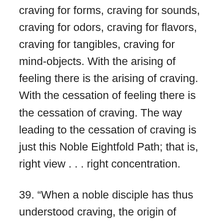craving for forms, craving for sounds, craving for odors, craving for flavors, craving for tangibles, craving for mind-objects. With the arising of feeling there is the arising of craving. With the cessation of feeling there is the cessation of craving. The way leading to the cessation of craving is just this Noble Eightfold Path; that is, right view . . . right concentration.
39. “When a noble disciple has thus understood craving, the origin of craving, the cessation of craving, and the way leading to the cessation of craving . . . he here and now makes an end of suffering. In that way too a noble disciple is one of right view . . . and has arrived at this true Dhamma.”
Feeling